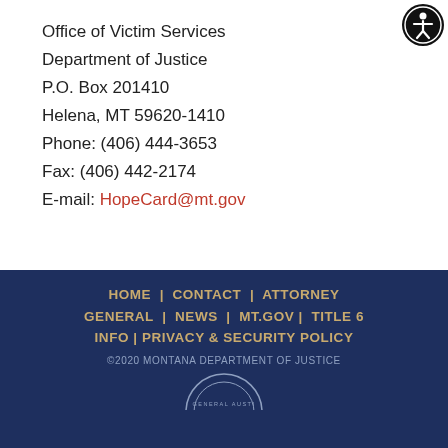Office of Victim Services
Department of Justice
P.O. Box 201410
Helena, MT 59620-1410
Phone: (406) 444-3653
Fax: (406) 442-2174
E-mail: HopeCard@mt.gov
[Figure (logo): Circular accessibility icon (person in circle) on black background, top-right corner]
HOME | CONTACT | ATTORNEY GENERAL | NEWS | MT.GOV | TITLE 6 INFO | PRIVACY & SECURITY POLICY
©2020 MONTANA DEPARTMENT OF JUSTICE